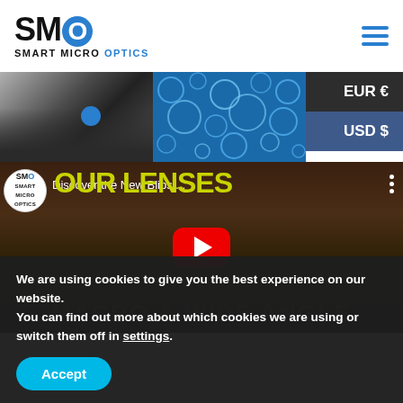SMO SMART MICRO OPTICS
[Figure (screenshot): Two product images side by side: left shows a dark smartphone-like device with a blue circular button, right shows a blue background with bubble/circle pattern]
[Figure (screenshot): YouTube video thumbnail for SMO 'Discover the New Blips...' video showing macro lens products on a wooden table, with yellow text 'YOUR LENSES' and red YouTube play button]
We are using cookies to give you the best experience on our website.
You can find out more about which cookies we are using or switch them off in settings.
Accept